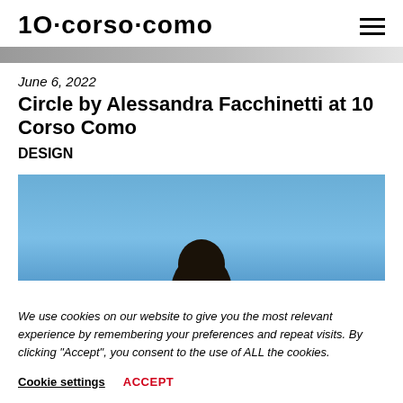10·corso·como
[Figure (other): Gray progress/loading bar across full page width]
June 6, 2022
Circle by Alessandra Facchinetti at 10 Corso Como
DESIGN
[Figure (photo): Photo of a person's head silhouetted against a blue sky, seen from behind]
We use cookies on our website to give you the most relevant experience by remembering your preferences and repeat visits. By clicking "Accept", you consent to the use of ALL the cookies.
Cookie settings   ACCEPT